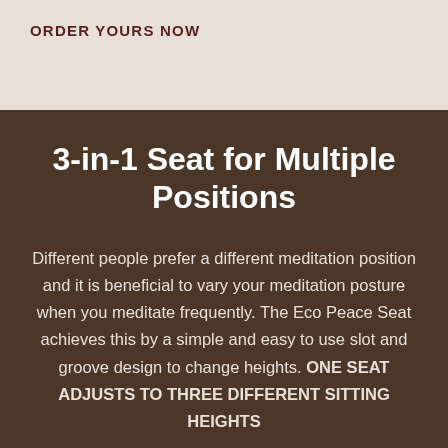ORDER YOURS NOW
3-in-1 Seat for Multiple Positions
Different people prefer a different meditation position and it is beneficial to vary your meditation posture when you meditate frequently. The Eco Peace Seat achieves this by a simple and easy to use slot and groove design to change heights. ONE SEAT ADJUSTS TO THREE DIFFERENT SITTING HEIGHTS